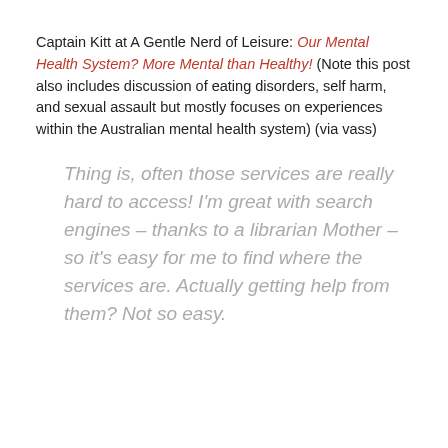Captain Kitt at A Gentle Nerd of Leisure: Our Mental Health System? More Mental than Healthy! (Note this post also includes discussion of eating disorders, self harm, and sexual assault but mostly focuses on experiences within the Australian mental health system) (via vass)
Thing is, often those services are really hard to access! I'm great with search engines – thanks to a librarian Mother – so it's easy for me to find where the services are. Actually getting help from them? Not so easy.